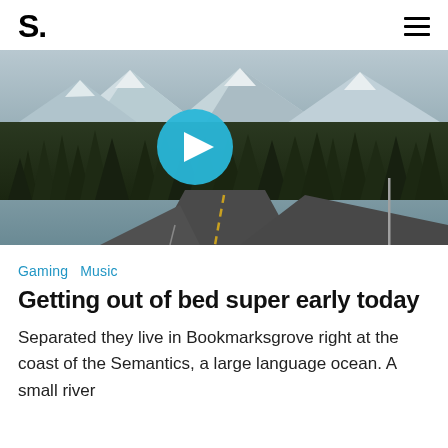S.
[Figure (photo): A winding mountain road through pine forest with snow-capped peaks in the background, featuring a blue circular play button overlay in the center.]
Gaming  Music
Getting out of bed super early today
Separated they live in Bookmarksgrove right at the coast of the Semantics, a large language ocean. A small river